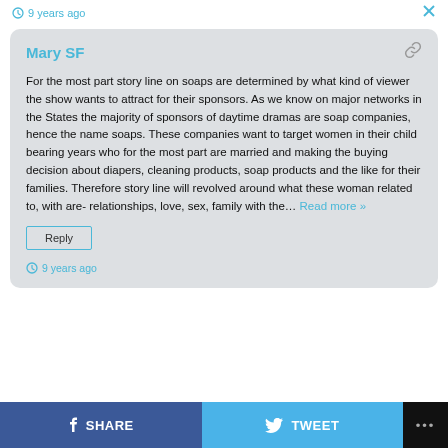9 years ago
Mary SF
For the most part story line on soaps are determined by what kind of viewer the show wants to attract for their sponsors. As we know on major networks in the States the majority of sponsors of daytime dramas are soap companies, hence the name soaps. These companies want to target women in their child bearing years who for the most part are married and making the buying decision about diapers, cleaning products, soap products and the like for their families. Therefore story line will revolved around what these woman related to, with are- relationships, love, sex, family with the... Read more »
Reply
9 years ago
SHARE  TWEET  ...